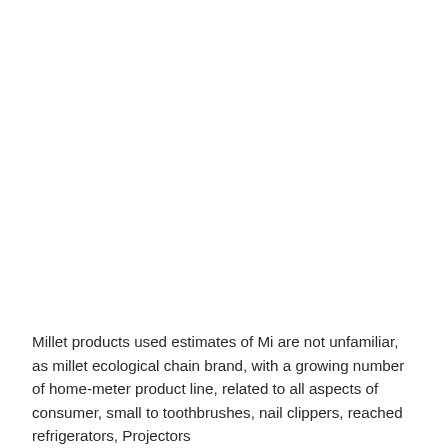Millet products used estimates of Mi are not unfamiliar, as millet ecological chain brand, with a growing number of home-meter product line, related to all aspects of consumer, small to toothbrushes, nail clippers, reached refrigerators, Projectors